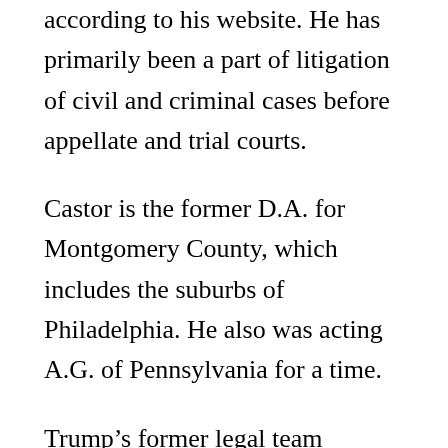according to his website. He has primarily been a part of litigation of civil and criminal cases before appellate and trial courts.
Castor is the former D.A. for Montgomery County, which includes the suburbs of Philadelphia. He also was acting A.G. of Pennsylvania for a time.
Trump’s former legal team allegedly quit due to a disagreement over strategy, with President Trump wanting to focus on election fraud. The lawyers wanted to focus on the legality of impeaching a former president.
President Trump was impeached by the DNC-